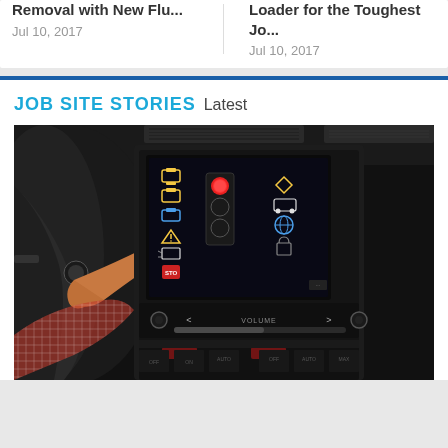Removal with New Flu...
Jul 10, 2017
Loader for the Toughest Jo...
Jul 10, 2017
JOB SITE STORIES Latest
[Figure (photo): Close-up of a car interior showing a hand on the steering wheel and a center console touchscreen display with colorful vehicle status icons including traffic light, warning symbols, and vehicle icons. Various control buttons and knobs are visible below the screen.]